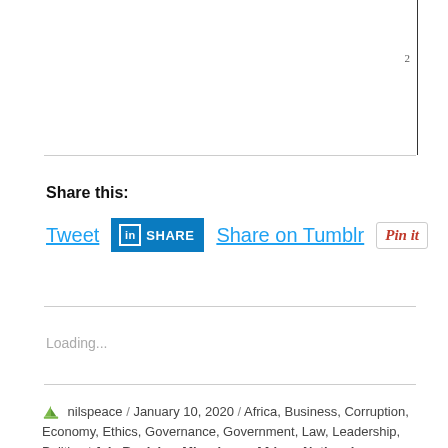2
Share this:
[Figure (screenshot): Social share buttons: Tweet (Twitter), LinkedIn Share, Share on Tumblr, Pin it (Pinterest)]
Loading...
nilspeace / January 10, 2020 / Africa, Business, Corruption, Economy, Ethics, Governance, Government, Law, Leadership, Politics / Adv Busisiwe Mkwebane, African National Congress, African National